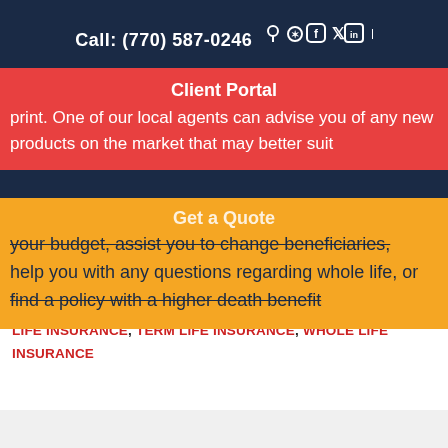Call: (770) 587-0246
print. One of our local agents can advise you of any new products on the market that may better suit
Client Portal
your budget, assist you to change beneficiaries, help you with any questions regarding whole life, or find a policy with a higher death benefit
Get a Quote
FILED UNDER: LIFE INSURANCE | TAGGED WITH: LIFE, LIFE INSURANCE, TERM LIFE INSURANCE, WHOLE LIFE INSURANCE